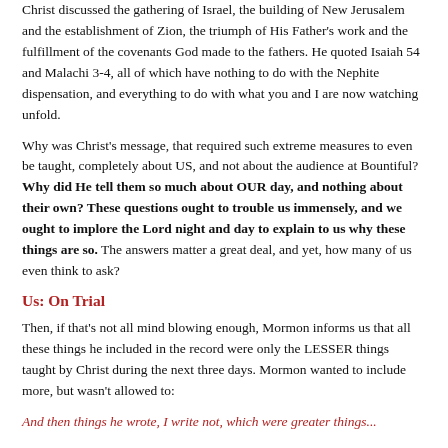Christ discussed the gathering of Israel, the building of New Jerusalem and the establishment of Zion, the triumph of His Father's work and the fulfillment of the covenants God made to the fathers. He quoted Isaiah 54 and Malachi 3-4, all of which have nothing to do with the Nephite dispensation, and everything to do with what you and I are now watching unfold.
Why was Christ's message, that required such extreme measures to even be taught, completely about US, and not about the audience at Bountiful? Why did He tell them so much about OUR day, and nothing about their own? These questions ought to trouble us immensely, and we ought to implore the Lord night and day to explain to us why these things are so. The answers matter a great deal, and yet, how many of us even think to ask?
Us: On Trial
Then, if that's not all mind blowing enough, Mormon informs us that all these things he included in the record were only the LESSER things taught by Christ during the next three days. Mormon wanted to include more, but wasn't allowed to:
And then things he wrote, I write not, which were greater things...